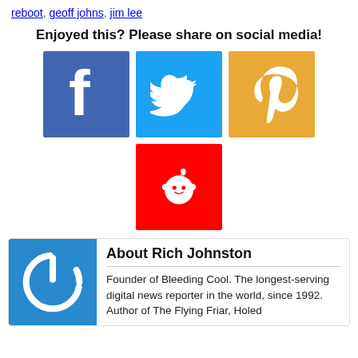reboot, geoff johns, jim lee
Enjoyed this? Please share on social media!
[Figure (illustration): Social media sharing buttons: Facebook (blue), Twitter (light blue), Pinterest (orange/yellow), Reddit (red)]
About Rich Johnston
[Figure (logo): Bleeding Cool power button logo on blue background]
Founder of Bleeding Cool. The longest-serving digital news reporter in the world, since 1992. Author of The Flying Friar, Holed